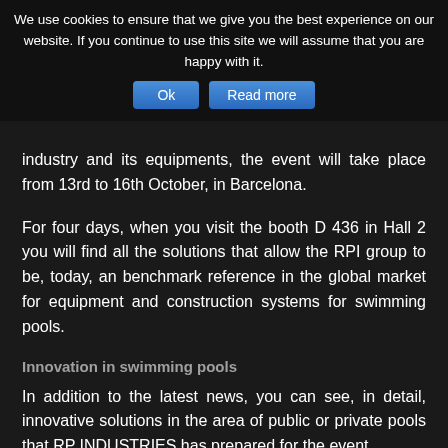We use cookies to ensure that we give you the best experience on our website. If you continue to use this site we will assume that you are happy with it.
industry and its equipments, the event will take place from 13rd to 16th October, in Barcelona.
For four days, when you visit the booth D 436 in Hall 2 you will find all the solutions that allow the RPI group to be, today, an benchmark reference in the global market for equipment and construction systems for swimming pools.
Innovation in swimming pools
In addition to the latest news, you can see, in detail, innovative solutions in the area of public or private pools that RP INDUSTRIES has prepared for the event.